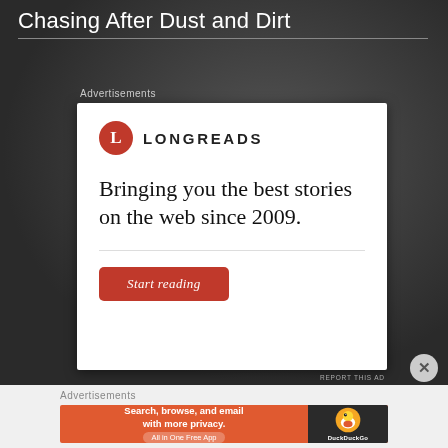Chasing After Dust and Dirt
Advertisements
[Figure (other): Longreads advertisement: Logo with red circle containing 'L' and wordmark 'LONGREADS'. Tagline: 'Bringing you the best stories on the web since 2009.' Red button: 'Start reading']
REPORT THIS AD
Advertisements
[Figure (other): DuckDuckGo advertisement: orange background with text 'Search, browse, and email with more privacy. All in One Free App'. Right panel dark with duck logo and 'DuckDuckGo']
REPORT THIS AD